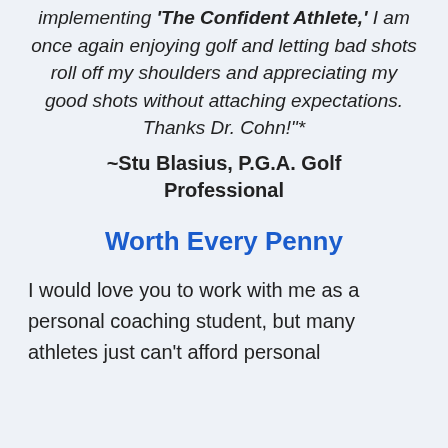implementing 'The Confident Athlete,' I am once again enjoying golf and letting bad shots roll off my shoulders and appreciating my good shots without attaching expectations. Thanks Dr. Cohn!"*
~Stu Blasius, P.G.A. Golf Professional
Worth Every Penny
I would love you to work with me as a personal coaching student, but many athletes just can't afford personal